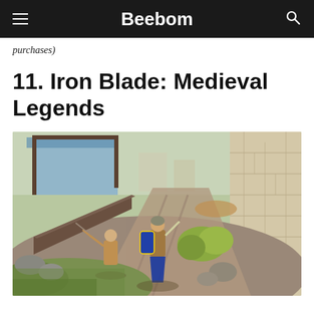Beebom
purchases)
11. Iron Blade: Medieval Legends
[Figure (photo): Screenshot from Iron Blade: Medieval Legends game showing two armored warriors fighting in an outdoor medieval setting with stone walls, wooden structures, and grassy terrain.]